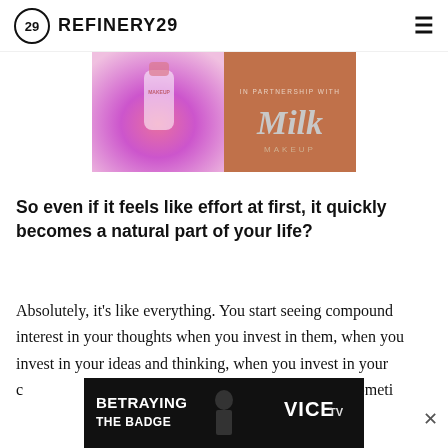REFINERY29
[Figure (illustration): Refinery29 advertisement banner for Milk Makeup. Left side shows a pink and purple abstract swirl background with a Milk Makeup product. Right side is a terracotta/orange background with the text 'IN PARTNERSHIP WITH' and 'Milk MAKEUP' logo in large silver letters.]
So even if it feels like effort at first, it quickly becomes a natural part of your life?
Absolutely, it's like everything. You start seeing compound interest in your thoughts when you invest in them, when you invest in your ideas and thinking, when you invest in your curiosity. It becomes a part of beneficial habits. It sometimes feels get
[Figure (illustration): Bottom advertisement banner for 'Betraying the Badge' on VICE TV, showing the text 'BETRAYING THE BADGE' in bold white letters on black background, with a silhouette of a person, and the VICE TV logo on the right.]